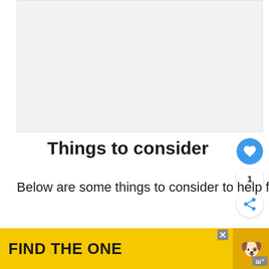[Figure (other): Gray placeholder rectangle for an advertisement or image at the top of the page]
Things to consider
Below are some things to consider to help figure out the main cause.
If your cat has always slept between
[Figure (other): Yellow advertisement banner at the bottom with text FIND THE ONE, a dog photo, a close button, and a logo]